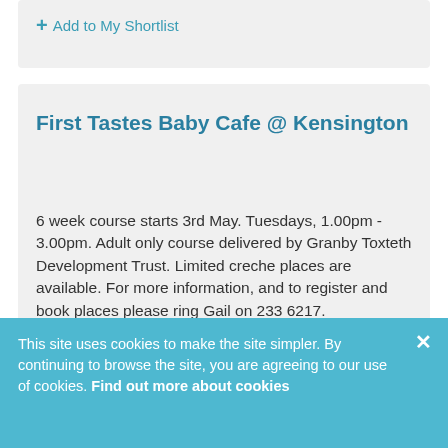+ Add to My Shortlist
First Tastes Baby Cafe @ Kensington
6 week course starts 3rd May. Tuesdays, 1.00pm - 3.00pm. Adult only course delivered by Granby Toxteth Development Trust. Limited creche places are available. For more information, and to register and book places please ring Gail on 233 6217.
This site uses cookies to make the site simpler. By continuing to browse the site, you are agreeing to our use of cookies. Find out more about cookies